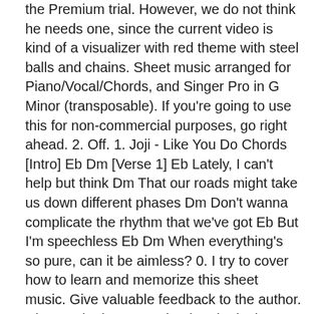the Premium trial. However, we do not think he needs one, since the current video is kind of a visualizer with red theme with steel balls and chains. Sheet music arranged for Piano/Vocal/Chords, and Singer Pro in G Minor (transposable). If you're going to use this for non-commercial purposes, go right ahead. 2. Off. 1. Joji - Like You Do Chords [Intro] Eb Dm [Verse 1] Eb Lately, I can't help but think Dm That our roads might take us down different phases Dm Don't wanna complicate the rhythm that we've got Eb But I'm speechless Eb Dm When everything's so pure, can it be aimless? 0. I try to cover how to learn and memorize this sheet music. Give valuable feedback to the author. Change the key. Download and print in PDF or MIDI free sheet music for Will He by Joji arranged by michelel for Piano (Solo) Piano. Browse Community. Download sheet music for Rock. Joji Wonderland Piano by Xenius99 has received 2 comments since it was uploaded.. Lagu ini masuk